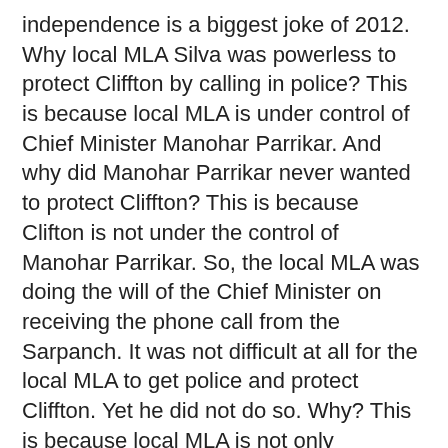independence is a biggest joke of 2012. Why local MLA Silva was powerless to protect Cliffton by calling in police? This is because local MLA is under control of Chief Minister Manohar Parrikar. And why did Manohar Parrikar never wanted to protect Cliffton? This is because Clifton is not under the control of Manohar Parrikar. So, the local MLA was doing the will of the Chief Minister on receiving the phone call from the Sarpanch. It was not difficult at all for the local MLA to get police and protect Cliffton. Yet he did not do so. Why? This is because local MLA is not only supported by Bamon Manohar Parrikar but he is also controlled by Manohar Parrikar. And Manohar Parrikar is a Home Minister with entire police force under his control including intelligence agencies.
Police was called to the scene by Cliffton himself. First he called office of Police Inspector (PI) of his jurisdiction. PI was on leave. Was it deliberate that PI was on leave? It looks this attack was pro-planned.